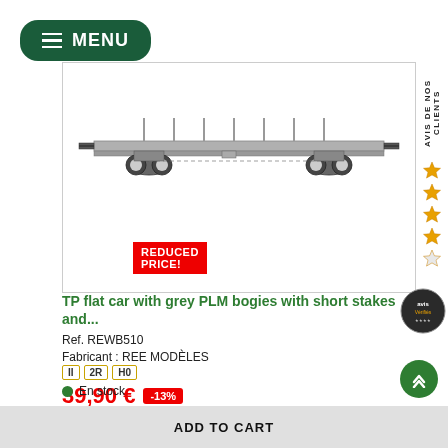MENU
[Figure (illustration): Side-view illustration of a TP flat car with grey PLM bogies with short stakes, shown as a scale model train wagon]
REDUCED PRICE!
TP flat car with grey PLM bogies with short stakes and...
Ref. REWB510
Fabricant : REE MODÈLES
II 2R H0
39,90 € -13%
45,90 €
En stock
ADD TO CART
AVIS DE NOS CLIENTS